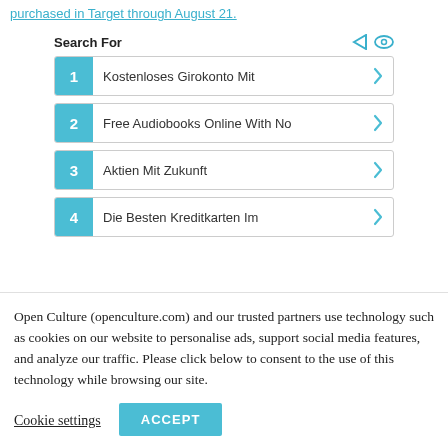purchased in Target through August 21.
[Figure (screenshot): Search For widget with 4 numbered items: 1. Kostenloses Girokonto Mit, 2. Free Audiobooks Online With No, 3. Aktien Mit Zukunft, 4. Die Besten Kreditkarten Im. Each item has a teal numbered badge on the left and a teal chevron arrow on the right. Play and eye icons appear in the top right of the widget header.]
Open Culture (openculture.com) and our trusted partners use technology such as cookies on our website to personalise ads, support social media features, and analyze our traffic. Please click below to consent to the use of this technology while browsing our site.
Cookie settings
ACCEPT